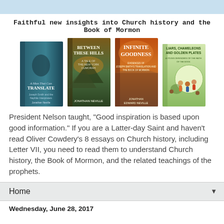Faithful new insights into Church history and the Book of Mormon
[Figure (photo): Four book covers side by side: 'A Man That Can Translate' by Jonathan Neville, 'Between These Hills' by Jonathan Neville, 'Infinite Goodness' by Jonathan Neville, and 'Liars, Chameleons and Golden Plates' children's book.]
President Nelson taught, "Good inspiration is based upon good information." If you are a Latter-day Saint and haven't read Oliver Cowdery's 8 essays on Church history, including Letter VII, you need to read them to understand Church history, the Book of Mormon, and the related teachings of the prophets.
Home
Wednesday, June 28, 2017